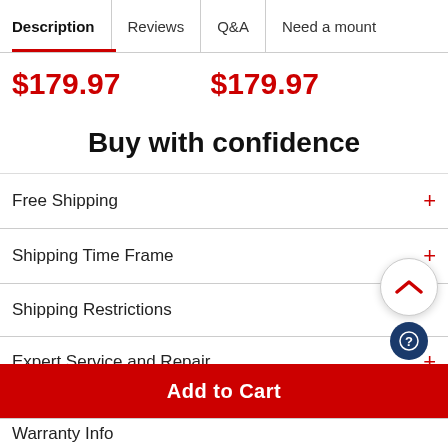Description | Reviews | Q&A | Need a mount
$179.97   $179.97
Buy with confidence
Free Shipping
Shipping Time Frame
Shipping Restrictions
Expert Service and Repair
Warranty Info
Add to Cart